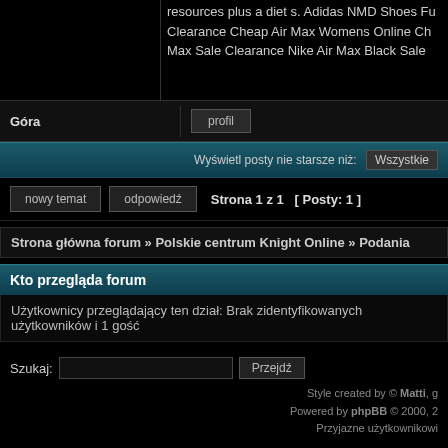resources plus a diet s. Adidas NMD Shoes Fu Clearance Cheap Air Max Womens Online Ch Max Sale Clearance Nike Air Max Black Sale
Góra
profil
Wyświetl posty nie starsze niż: Wszystkie
nowy temat   odpowiedź   Strona 1 z 1  [ Posty: 1 ]
Strona główna forum » Polskie centrum Knight Online » Podania
Kto przegląda forum
Użytkownicy przeglądający ten dział: Brak zidentyfikowanych użytkowników i 1 gość
Szukaj:
Style created by © Matti, g
Powered by phpBB © 2000, 2 Przyjazne użytkownikowi